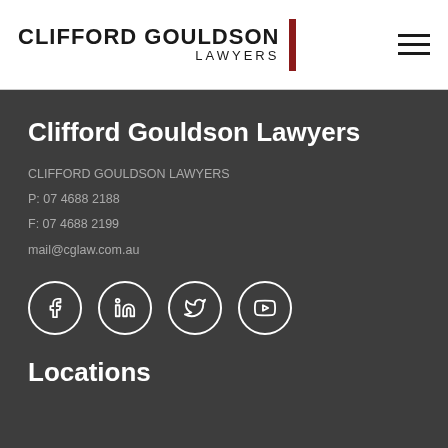[Figure (logo): Clifford Gouldson Lawyers logo with dark text and red vertical bar accent]
Clifford Gouldson Lawyers
CLIFFORD GOULDSON LAWYERS
P: 07 4688 2188
F: 07 4688 2199
mail@cglaw.com.au
[Figure (illustration): Social media icons: Facebook, LinkedIn, Twitter, YouTube — white outlined circles on dark background]
Locations